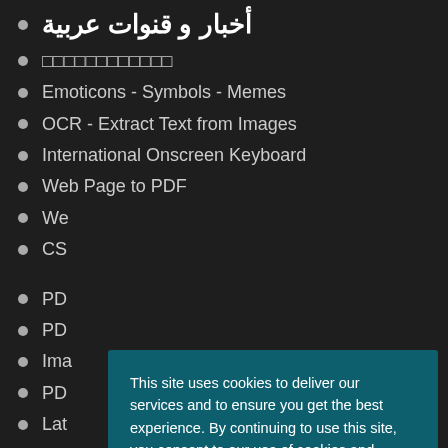أخبار و قنوات عربية
□□□□□□□□□□□□
Emoticons - Symbols - Memes
OCR - Extract Text from Images
International Onscreen Keyboard
Web Page to PDF
We...
CS...
PD...
PD...
Ima...
PD...
Lat...
Mo...
This site uses cookies to deliver our services and to ensure you get the best experience. By continuing to use this site, you consent to our use of cookies and acknowledge that you have read and understand our
Privacy Policy, Cookie Policy, and Terms
Accept